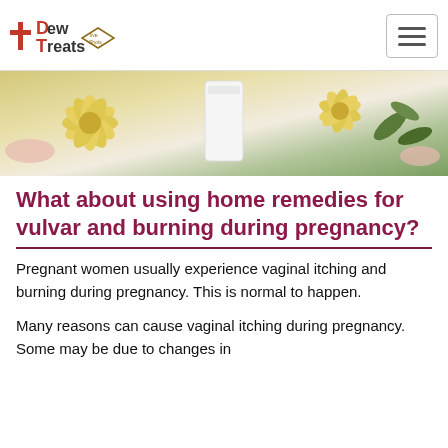Dew Treats
[Figure (photo): Close-up photo of yellow chrysanthemum flowers and green leaves with a white candle or bottle in the background, soft warm tones.]
What about using home remedies for vulvar and burning during pregnancy?
Pregnant women usually experience vaginal itching and  burning during pregnancy. This is normal to happen.
Many reasons can cause vaginal itching during pregnancy. Some may be due to changes in